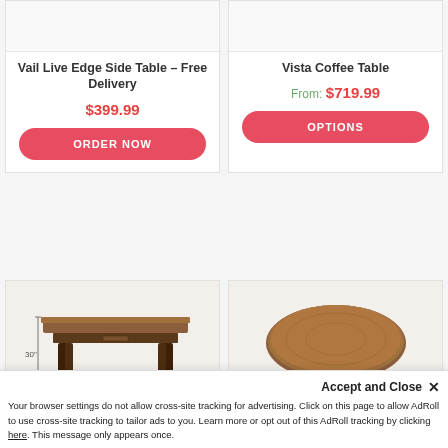Vail Live Edge Side Table – Free Delivery
$399.99
ORDER NOW
Vista Coffee Table
From: $719.99
OPTIONS
[Figure (photo): Side table with dark legs and wooden top, dimension label 30"]
[Figure (photo): Round coffee table with brown wooden top and white/grey legs]
Accept and Close ✕
Your browser settings do not allow cross-site tracking for advertising. Click on this page to allow AdRoll to use cross-site tracking to tailor ads to you. Learn more or opt out of this AdRoll tracking by clicking here. This message only appears once.